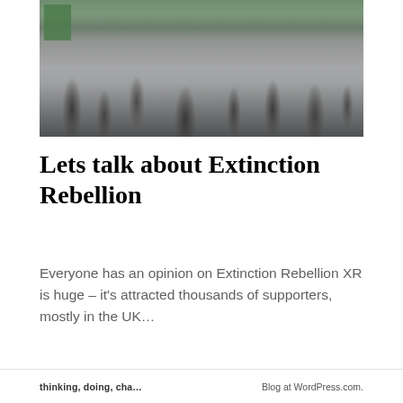[Figure (photo): Outdoor scene with people walking and standing on a paved area, some holding signs or bags, viewed from street level. Green signage visible at top left.]
Lets talk about Extinction Rebellion
Everyone has an opinion on Extinction Rebellion XR is huge – it's attracted thousands of supporters, mostly in the UK…
[Figure (other): Loading spinner icon (circular dashed loading indicator)]
thinking, doing, cha...   Blog at WordPress.com.